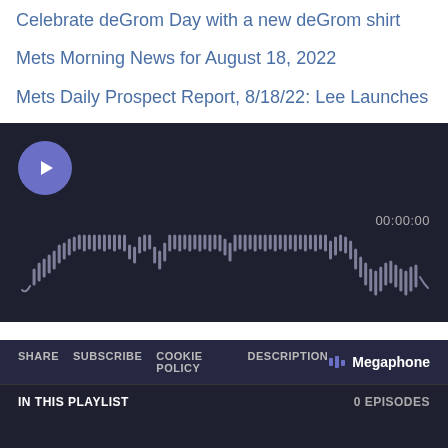Celebrate deGrom Day with a new deGrom shirt
Mets Morning News for August 18, 2022
Mets Daily Prospect Report, 8/18/22: Lee Launches
[Figure (screenshot): Megaphone audio podcast player widget with dark background, play button, waveform visualization, timer showing 00:00:00, share/subscribe/cookie policy/description links, Megaphone logo, and playlist section showing 0 episodes.]